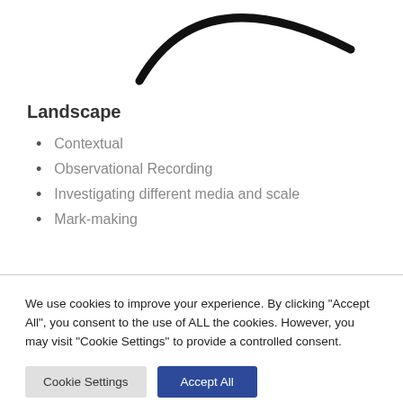[Figure (illustration): Partial arc/curve shape visible at top of page, black curved line resembling the top of a circle or logo]
Landscape
Contextual
Observational Recording
Investigating different media and scale
Mark-making
We use cookies to improve your experience. By clicking "Accept All", you consent to the use of ALL the cookies. However, you may visit "Cookie Settings" to provide a controlled consent.